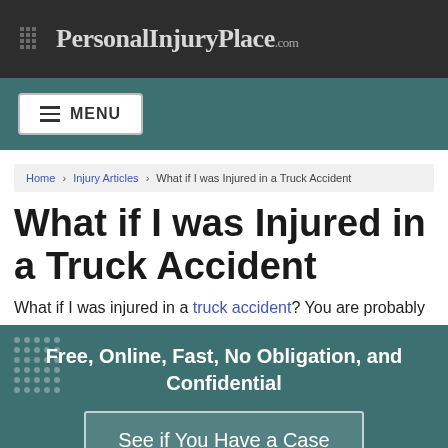PersonalInjuryPlace.com
MENU
Home › Injury Articles › What if I was Injured in a Truck Accident
What if I was Injured in a Truck Accident
What if I was injured in a truck accident? You are probably
Free, Online, Fast, No Obligation, and Confidential
See if You Have a Case